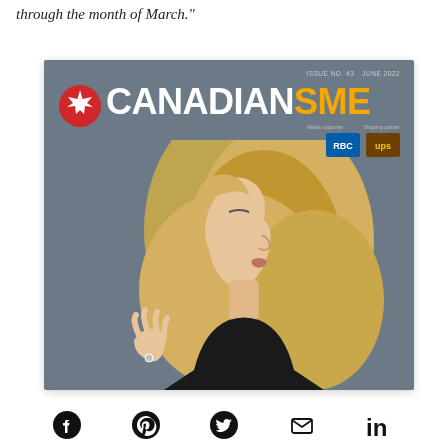through the month of March."
[Figure (photo): Cover of CanadianSME magazine, Issue No. 43, June 2022, showing a woman with long blonde wavy hair in profile view against a grey background. The cover features the CanadianSME logo with a red maple leaf circle emblem, and sponsor logos for RBC and UPS.]
[Figure (infographic): Social media sharing icons: Facebook, Pinterest, Twitter, Email, LinkedIn]